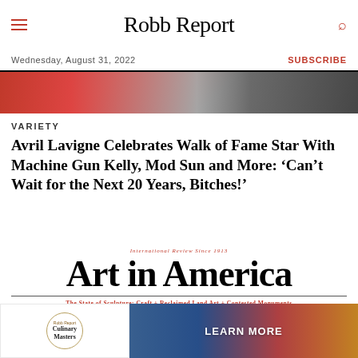Robb Report
Wednesday, August 31, 2022
SUBSCRIBE
[Figure (photo): Partial image strip showing red and grey tones, appearing to be a cropped photo]
VARIETY
Avril Lavigne Celebrates Walk of Fame Star With Machine Gun Kelly, Mod Sun and More: ‘Can’t Wait for the Next 20 Years, Bitches!’
[Figure (logo): Art in America magazine logo with tagline 'International Review Since 1913' and subtitle 'The State of Sculpture: Craft + Reclaimed Land Art + Contested Monuments']
[Figure (photo): Partial image of an art object in light grey/beige tones at bottom of Art in America magazine cover]
[Figure (infographic): Robb Report Culinary Masters advertisement banner with 'LEARN MORE' call to action]